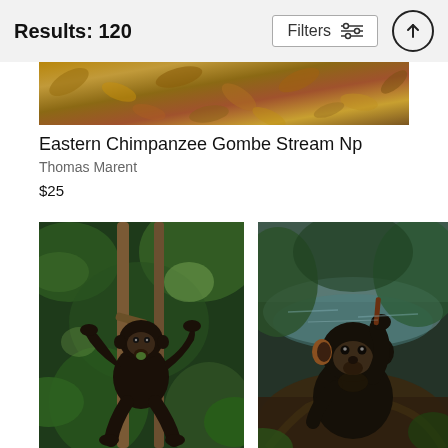Results: 120  Filters
[Figure (photo): Top strip photo showing autumn leaves and forest floor debris, brown and golden tones]
Eastern Chimpanzee Gombe Stream Np
Thomas Marent
$25
[Figure (photo): Baby chimpanzee climbing on tree branches in green jungle foliage, holding branches with hands and feet]
[Figure (photo): Baby chimpanzee sitting near water in forest, holding and examining a small object, looking upward]